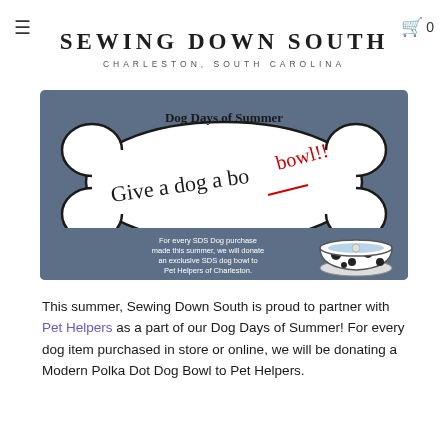≡  SEWING DOWN SOUTH  CHARLESTON, SOUTH CAROLINA  🛒 0
SEWING DOWN SOUTH
CHARLESTON, SOUTH CAROLINA
[Figure (illustration): Promotional banner for Dog Days of Summer campaign showing a dog bone shape on a slate-blue background with handwritten text 'Give a dog a bowl!!' and text 'For every SDS Dog purchase made this summer, we will donate an exclusive SDS dog bowl to Pet Helpers of Charleston.' alongside an illustration of a polka dot dog bowl.]
This summer, Sewing Down South is proud to partner with Pet Helpers as a part of our Dog Days of Summer! For every dog item purchased in store or online, we will be donating a Modern Polka Dot Dog Bowl to Pet Helpers.